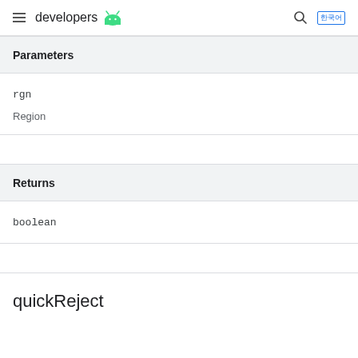developers
Parameters
rgn
Region
Returns
boolean
quickReject